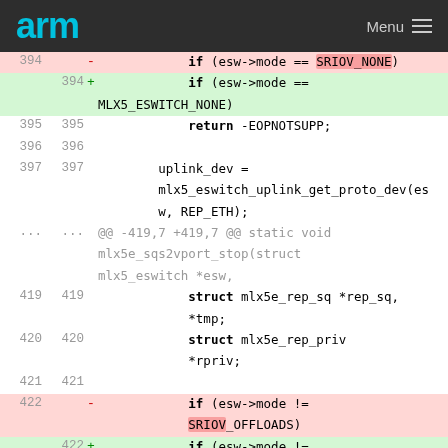arm  Menu
Code diff showing change from SRIOV_NONE to MLX5_ESWITCH_NONE and SRIOV_OFFLOADS to MLX5_ESWITCH_OFFLOADS in kernel driver code
| old_ln | new_ln | sign | code |
| --- | --- | --- | --- |
| 394 |  | - |             if (esw->mode == SRIOV_NONE) |
|  | 394 | + |             if (esw->mode ==
MLX5_ESWITCH_NONE) |
| 395 | 395 |  |             return -EOPNOTSUPP; |
| 396 | 396 |  |  |
| 397 | 397 |  |         uplink_dev =
        mlx5_eswitch_uplink_get_proto_dev(es
        w, REP_ETH); |
| ... | ... |  | @@ -419,7 +419,7 @@ static void
mlx5e_sqs2vport_stop(struct
mlx5_eswitch *esw, |
| 419 | 419 |  |             struct mlx5e_rep_sq *rep_sq,
            *tmp; |
| 420 | 420 |  |             struct mlx5e_rep_priv
            *rpriv; |
| 421 | 421 |  |  |
| 422 |  | - |             if (esw->mode !=
            SRIOV_OFFLOADS) |
|  | 422 | + |             if (esw->mode !=
            MLX5_ESWITCH_OFFLOADS) |